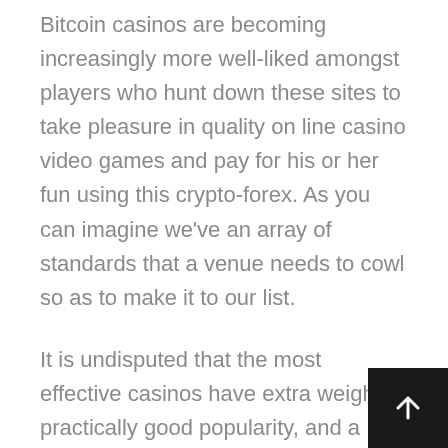Bitcoin casinos are becoming increasingly more well-liked amongst players who hunt down these sites to take pleasure in quality on line casino video games and pay for his or her fun using this crypto-forex. As you can imagine we've an array of standards that a venue needs to cowl so as to make it to our list.
It is undisputed that the most effective casinos have extra weight, practically good popularity, and a military of fans. As you see, to perform the procedures of withdrawing and depositing bitcoin cash, you have to purchase your individual bitcoin handle. There are several choices like cryptocurrency exchanges and wallets. A severe imbalance between the ca... that gamers invested in BTCs and different